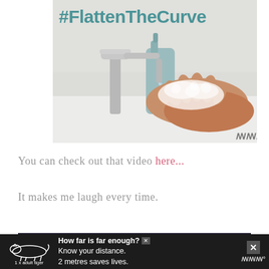[Figure (photo): Photo of hands being washed with soap under a running faucet at a white sink, with a blue soap dispenser in the background. The hashtag #FlattenTheCurve appears at the top of the image in teal text. A small watermark logo appears at the bottom right.]
You can check out that video here...
It makes me laugh every time.
[Figure (screenshot): Partial bottom strip showing a dark video thumbnail with the word FRIENDS visible.]
[Figure (infographic): Advertisement banner with dark background showing a tiger illustration on the left with label '1 x adult tiger', text reading 'How far is far enough? Know your distance. 2 metres saves lives.' with close buttons on the right.]